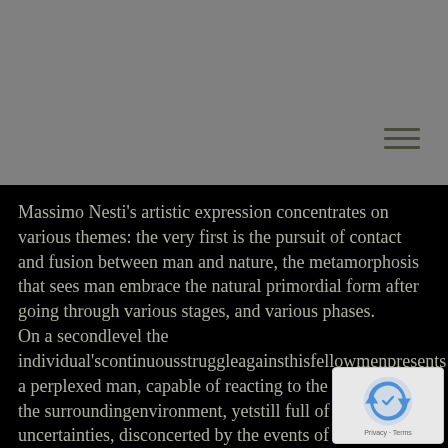Massimo Nesti's artistic expression concentrates on various themes: the very first is the pursuit of contact and fusion between man and nature, the metamorphosis that sees man embrace the natural primordial form after going through various stages, and various phases.
On a second level the individual'scontinuousstruggleagainsthisfellowmenpresents a perplexed man, capable of reacting to the messages of the surroundingenvironment, yetstill full of doubts and uncertainties, disconcerted by the events of the outside world.